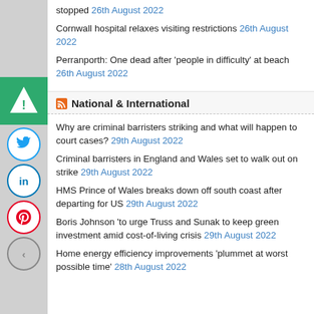stopped 26th August 2022
Cornwall hospital relaxes visiting restrictions 26th August 2022
Perranporth: One dead after 'people in difficulty' at beach 26th August 2022
National & International
Why are criminal barristers striking and what will happen to court cases? 29th August 2022
Criminal barristers in England and Wales set to walk out on strike 29th August 2022
HMS Prince of Wales breaks down off south coast after departing for US 29th August 2022
Boris Johnson 'to urge Truss and Sunak to keep green investment amid cost-of-living crisis 29th August 2022
Home energy efficiency improvements 'plummet at worst possible time' 28th August 2022